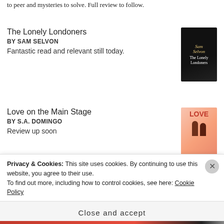to peer and mysteries to solve. Full review to follow.
The Lonely Londoners BY SAM SELVON Fantastic read and relevant still today.
[Figure (illustration): Book cover of The Lonely Londoners by Sam Selvon, dark background with author name in gold and book title in white]
Love on the Main Stage BY S.A. DOMINGO Review up soon
[Figure (illustration): Book cover of Love on the Main Stage by S.A. Domingo, pink/orange background with colorful title and silhouette figures]
[Figure (logo): Goodreads logo in a rounded rectangle button]
[Figure (photo): Horizontal strip of thumbnails at bottom of page]
Privacy & Cookies: This site uses cookies. By continuing to use this website, you agree to their use. To find out more, including how to control cookies, see here: Cookie Policy
Close and accept